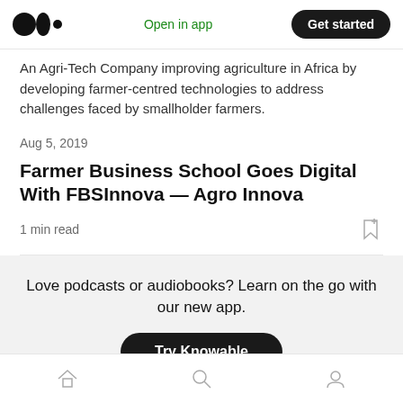Open in app | Get started
An Agri-Tech Company improving agriculture in Africa by developing farmer-centred technologies to address challenges faced by smallholder farmers.
Aug 5, 2019
Farmer Business School Goes Digital With FBSInnova — Agro Innova
1 min read
Love podcasts or audiobooks? Learn on the go with our new app.
Try Knowable
Home | Search | Profile